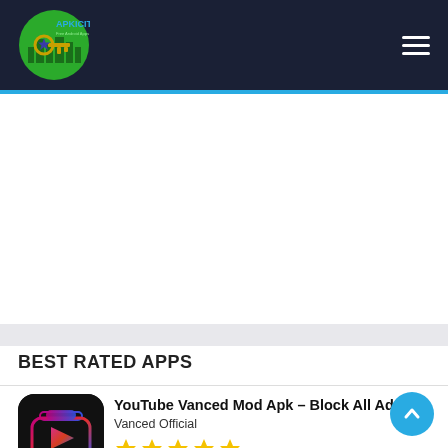[Figure (logo): Apkicity logo – green circle with blue star, city skyline silhouette, key, and text 'APKICITY Free Android Apps & Games']
[Figure (other): White empty advertisement space]
BEST RATED APPS
[Figure (illustration): YouTube Vanced app icon – black rounded square with colorful camera/play button icon in pink/red/blue gradient]
YouTube Vanced Mod Apk – Block All Ads
Vanced Official
★★★★★